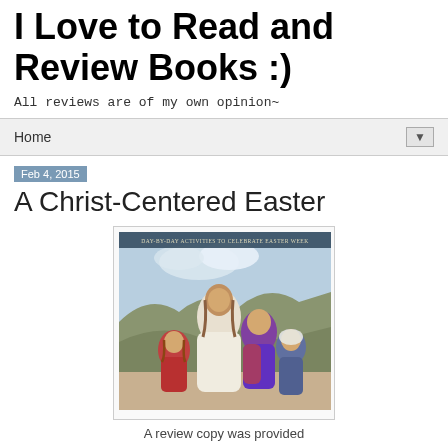I Love to Read and Review Books :)
All reviews are of my own opinion~
Home ▼
Feb 4, 2015
A Christ-Centered Easter
[Figure (illustration): Book cover showing Jesus Christ seated with three children around him, with text at top reading 'Day-by-Day Activities to Celebrate Easter Week']
A review copy was provided